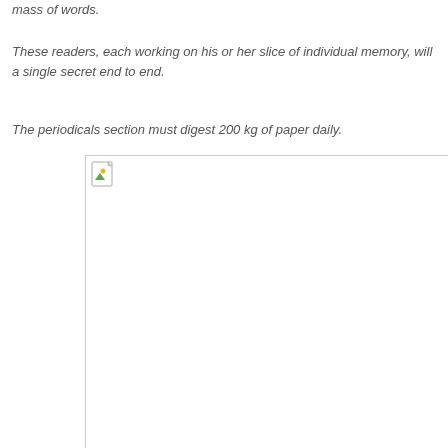mass of words.
These readers, each working on his or her slice of individual memory, will a single secret end to end.
The periodicals section must digest 200 kg of paper daily.
[Figure (photo): Broken/missing image placeholder with small icon in top-left corner]